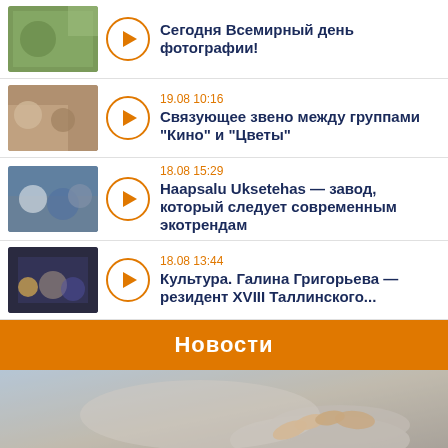Сегодня Всемирный день фотографии!
19.08 10:16
Связующее звено между группами "Кино" и "Цветы"
18.08 15:29
Haapsalu Uksetehas — завод, который следует современным экотрендам
18.08 13:44
Культура. Галина Григорьева — резидент XVIII Таллинского...
Новости
[Figure (photo): News photo showing hands, likely writing or exchanging something]
Сейчас в эфире:
Нон-стоп 10.01 Нон-стоп 10